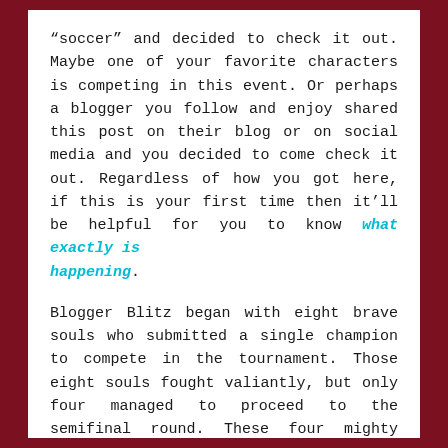“soccer” and decided to check it out. Maybe one of your favorite characters is competing in this event. Or perhaps a blogger you follow and enjoy shared this post on their blog or on social media and you decided to come check it out. Regardless of how you got here, if this is your first time then it’ll be helpful for you to know what exactly is happening.
Blogger Blitz began with eight brave souls who submitted a single champion to compete in the tournament. Those eight souls fought valiantly, but only four managed to proceed to the semifinal round. These four mighty heroes must now face off in even more complex and